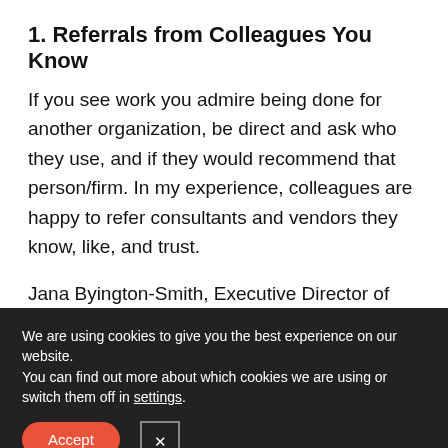1. Referrals from Colleagues You Know
If you see work you admire being done for another organization, be direct and ask who they use, and if they would recommend that person/firm. In my experience, colleagues are happy to refer consultants and vendors they know, like, and trust.
Jana Byington-Smith, Executive Director of Camp for All Kids and President of Second Gift,  adds, “I also look for firms that work with clients
We are using cookies to give you the best experience on our website.
You can find out more about which cookies we are using or switch them off in settings.
Accept
×